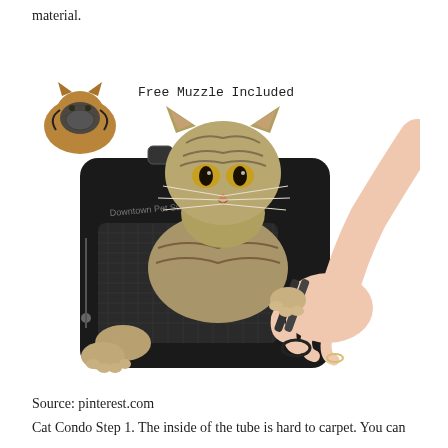material.
[Figure (photo): A tabby cat restrained in a black grooming bag (Downtown Pet Supply), with a person's hands trimming the cat's claws with nail clippers. A small inset image in the upper left shows the cat wearing a muzzle, with text 'Free Muzzle Included'.]
Source: pinterest.com
Cat Condo Step 1. The inside of the tube is hard to carpet. You can